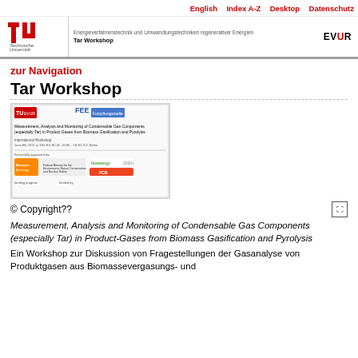English  Index A-Z  Desktop  Datenschutz
[Figure (logo): TU Berlin logo and EVUR header with institution name and Tar Workshop subtitle]
zur Navigation
Tar Workshop
[Figure (illustration): Workshop poster showing EVUR and FEE logos, title 'Measurement, Analysis and Monitoring of Condensable Gas Components (especially Tar) in Product Gases from Biomass Gasification and Pyrolysis', International Workshop date June 8, 2011, ICC Berlin, with sponsor logos including Biomass for energy, bioenergy 2020+, and FCN]
© Copyright??
Measurement, Analysis and Monitoring of Condensable Gas Components (especially Tar) in Product-Gases from Biomass Gasification and Pyrolysis
Ein Workshop zur Diskussion von Fragestellungen der Gasanalyse von Produktgasen aus Biomassevergasungs- und